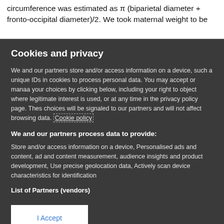circumference was estimated as π (biparietal diameter + fronto-occipital diameter)/2. We took maternal weight to be
Cookies and privacy
We and our partners store and/or access information on a device, such as unique IDs in cookies to process personal data. You may accept or manage your choices by clicking below, including your right to object where legitimate interest is used, or at any time in the privacy policy page. These choices will be signaled to our partners and will not affect browsing data. Cookie policy
We and our partners process data to provide:
Store and/or access information on a device, Personalised ads and content, ad and content measurement, audience insights and product development, Use precise geolocation data, Actively scan device characteristics for identification
List of Partners (vendors)
I Accept